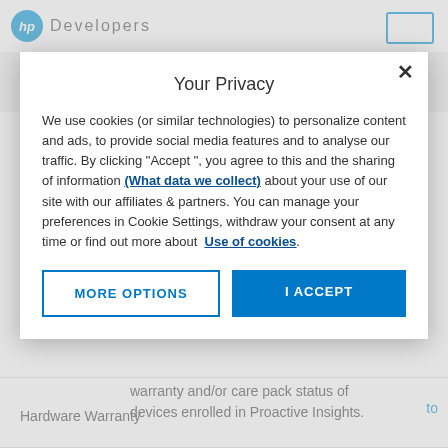HP Developers
[Figure (screenshot): Privacy consent modal dialog overlay on HP Developers website. Modal contains title 'Your Privacy', body text about cookie usage, links '(What data we collect)' and 'Use of cookies', and two buttons: 'MORE OPTIONS' and 'I ACCEPT'.]
Your Privacy
We use cookies (or similar technologies) to personalize content and ads, to provide social media features and to analyse our traffic. By clicking "Accept ", you agree to this and the sharing of information (What data we collect) about your use of our site with our affiliates & partners. You can manage your preferences in Cookie Settings, withdraw your consent at any time or find out more about Use of cookies.
Hardware Warranty
Provides an overall summary of warranty and/or care pack status of devices enrolled in Proactive Insights.